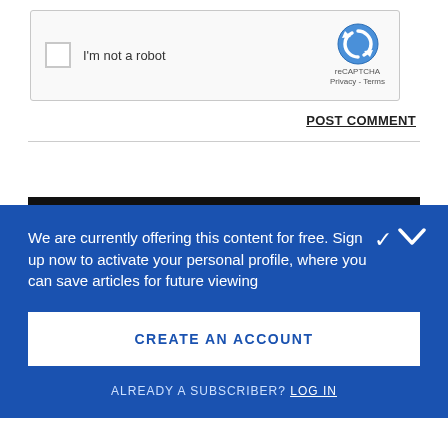[Figure (other): reCAPTCHA widget with checkbox labeled 'I'm not a robot', reCAPTCHA logo, Privacy and Terms links]
POST COMMENT
We are currently offering this content for free. Sign up now to activate your personal profile, where you can save articles for future viewing
CREATE AN ACCOUNT
ALREADY A SUBSCRIBER? LOG IN